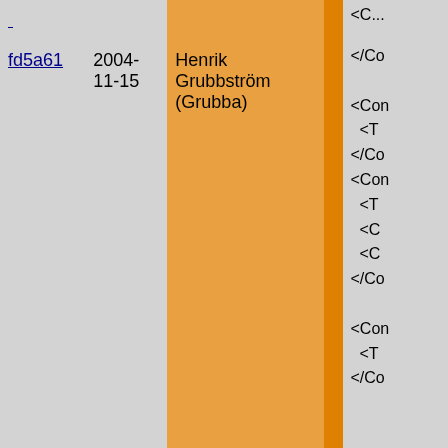| hash | date | author |  | code |
| --- | --- | --- | --- | --- |
| fd5a61 | 2004-11-15 | Henrik Grubbström (Grubba) |  | </Co…
<Con…
<T…
</Co…
<Con…
<T…
<C…
<C…
</Co…
<Con…
<T…
</Co… |
| bad6ef | 2004-11-15 | Henrik Grubbström (Grubba) |  | <Con… |
| fd5a61 | 2004-11-15 | Henrik Grubbström (Grubba) |  | <T…
</Co… |
| bad6ef | 2004-11-15 | Henrik Grubbström (Grubba) |  | <Con…
<T… |
| fd5a61 | 2004-11-15 | Henrik Grubbström (Grubba) |  | <C…
<C…
</Co… |
| bad6ef | 2004-11-15 | Henrik Grubbström (Grubba) |  | <Con… |
| fd5a61 | 2004-11-15 | Henrik Grubbström (Grubba) |  | <T… |